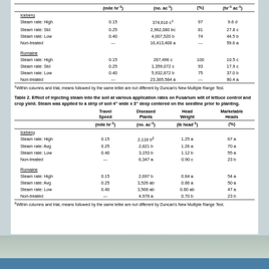|  | Travel Speed (mile hr⁻¹) | Diseased Plants (no. ac⁻¹) | (%) | Head Weight (hr⁻¹ ac⁻¹) |
| --- | --- | --- | --- | --- |
| Iceberg |  |  |  |  |
| Steam rate: High | 0.15 | 374,616 c¹ | 97 | 9.6 d |
| Steam rate: Std | 0.25 | 2,962,080 bc | 81 | 27.8 c |
| Steam rate: Low | 0.40 | 4,007,520 b | 74 | 44.5 b |
| Non-treated | --- | 16,413,408 a | --- | 59.6 a |
| Romaine |  |  |  |  |
| Steam rate: High | 0.15 | 287,496 c | 100 | 10.5 c |
| Steam rate: Std | 0.25 | 1,359,072 c | 93 | 17.9 c |
| Steam rate: Low | 0.40 | 5,932,872 b | 75 | 37.0 b |
| Non-treated | --- | 23,365,584 a | --- | 90.4 a |
¹Within columns and trial, means followed by the same letter are not different by Duncan's New Multiple Range Test.
Table 2. Effect of injecting steam into the soil at various application rates on Fusarium wilt of lettuce control and crop yield. Steam was applied to a strip of soil 4" wide x 3" deep centered on the seedline prior to planting.
|  | Travel Speed (mile hr⁻¹) | Diseased Plants (no. ac⁻¹) | Head Weight (lb head⁻¹) | Marketable Heads (%) |
| --- | --- | --- | --- | --- |
| Iceberg |  |  |  |  |
| Steam rate: High | 0.15 | 2,116 b² | 1.25 a | 67 a |
| Steam rate: Avg | 0.25 | 2,821 b | 1.26 a | 70 a |
| Steam rate: Low | 0.40 | 3,153 b | 1.12 b | 55 a |
| Non-treated | --- | 6,347 a | 0.90 c | 23 b |
| Romaine |  |  |  |  |
| Steam rate: High | 0.15 | 2,697 b | 0.84 a | 54 a |
| Steam rate: Avg | 0.25 | 3,526 ab | 0.86 a | 50 a |
| Steam rate: Low | 0.40 | 3,568 ab | 0.80 ab | 47 a |
| Non-treated | --- | 4,978 a | 0.70 b | 23 b |
²Within columns and trial, means followed by the same letter are not different by Duncan's New Multiple Range Test.